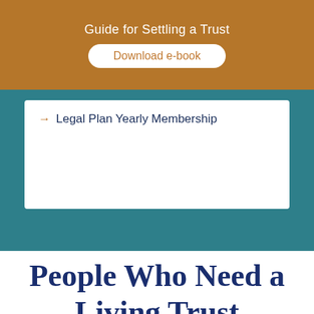Guide for Settling a Trust
Download e-book
→ Legal Plan Yearly Membership
People Who Need a Living Trust
If you meet one of the following qualifications, you need to call us. We can guide you through